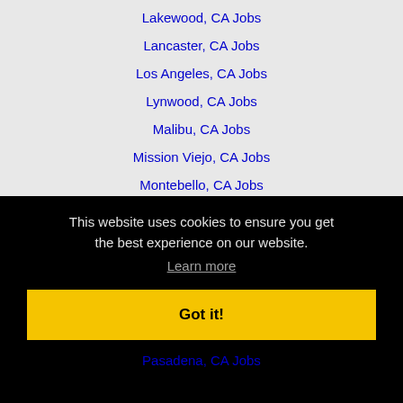Lakewood, CA Jobs
Lancaster, CA Jobs
Los Angeles, CA Jobs
Lynwood, CA Jobs
Malibu, CA Jobs
Mission Viejo, CA Jobs
Montebello, CA Jobs
Monterey Park, CA Jobs
Murrieta, CA Jobs
Newport Beach, CA Jobs
This website uses cookies to ensure you get the best experience on our website.
Learn more
Got it!
Pasadena, CA Jobs